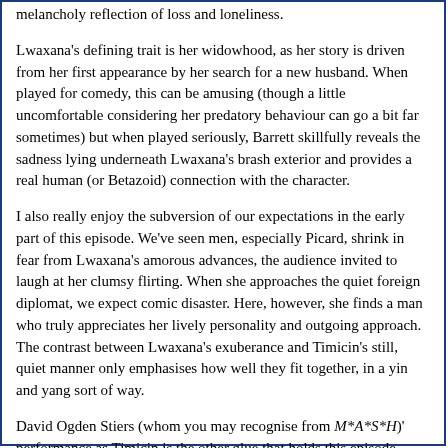melancholy reflection of loss and loneliness.
Lwaxana's defining trait is her widowhood, as her story is driven from her first appearance by her search for a new husband. When played for comedy, this can be amusing (though a little uncomfortable considering her predatory behaviour can go a bit far sometimes) but when played seriously, Barrett skillfully reveals the sadness lying underneath Lwaxana's brash exterior and provides a real human (or Betazoid) connection with the character.
I also really enjoy the subversion of our expectations in the early part of this episode. We've seen men, especially Picard, shrink in fear from Lwaxana's amorous advances, the audience invited to laugh at her clumsy flirting. When she approaches the quiet foreign diplomat, we expect comic disaster. Here, however, she finds a man who truly appreciates her lively personality and outgoing approach. The contrast between Lwaxana's exuberance and Timicin's still, quiet manner only emphasises how well they fit together, in a yin and yang sort of way.
David Ogden Stiers (whom you may recognise from M*A*S*H)' performance as Timicin is the other glue that holds this episode together. It's a wonderful, solid, touching performance, and it's Stiers that holds the episode together during the second half, where I confess I have some issues with the story. Respecting alien